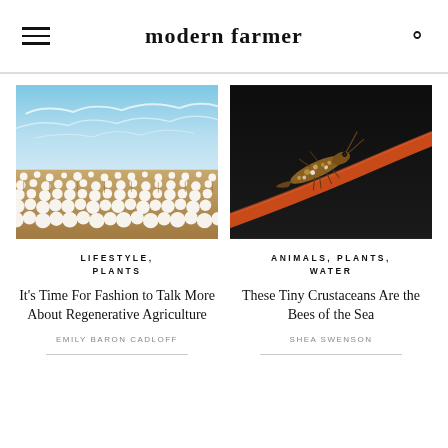modern farmer
[Figure (photo): Aerial view of a vast cotton field under a blue sky with wispy clouds]
LIFESTYLE, PLANTS
It's Time For Fashion to Talk More About Regenerative Agriculture
EMILY BARON CADLOFF
[Figure (photo): Close-up of a tiny crustacean on a reddish-orange stem against a dark background]
ANIMALS, PLANTS, WATER
These Tiny Crustaceans Are the Bees of the Sea
SHEA SWENSON